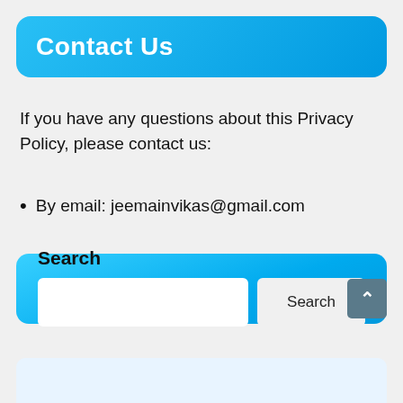Contact Us
If you have any questions about this Privacy Policy, please contact us:
By email: jeemainvikas@gmail.com
[Figure (other): Search widget with a text input field and a Search button on a blue gradient background, labeled 'Search']